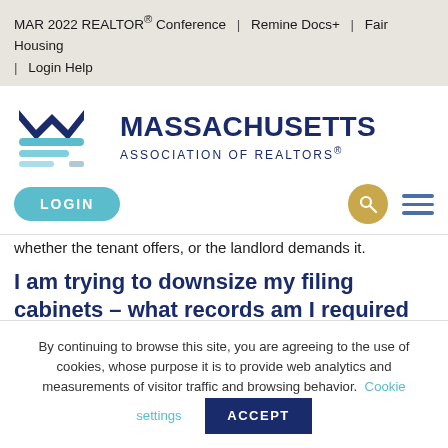MAR 2022 REALTOR® Conference | Remine Docs+ | Fair Housing | Login Help
[Figure (logo): Massachusetts Association of REALTORS logo with layered wave/M graphic in dark blue and teal, beside bold text MASSACHUSETTS ASSOCIATION OF REALTORS®]
[Figure (screenshot): LOGIN button (teal pill), search icon (gold circle), hamburger menu icon (dark blue lines)]
whether the tenant offers, or the landlord demands it.
I am trying to downsize my filing cabinets – what records am I required
By continuing to browse this site, you are agreeing to the use of cookies, whose purpose it is to provide web analytics and measurements of visitor traffic and browsing behavior. Cookie settings ACCEPT